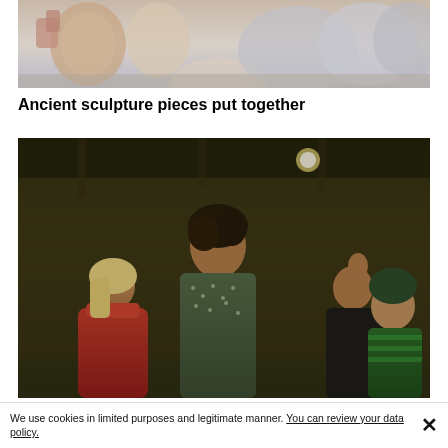[Figure (photo): Close-up photo of ancient sculpture pieces assembled together, showing white/beige stone or plaster fragments]
Ancient sculpture pieces put together
[Figure (photo): Movie or TV still showing a man with curly dark hair in a patterned shirt standing in the foreground, with several other characters visible behind him in what appears to be a rustic indoor setting]
We use cookies in limited purposes and legitimate manner. You can review your data policy.